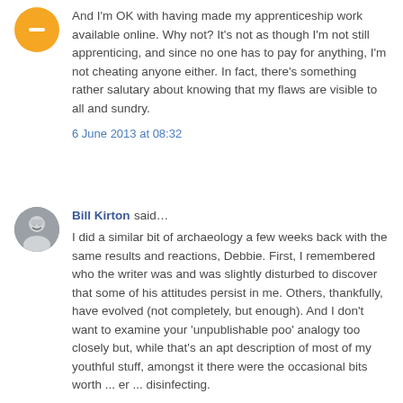And I'm OK with having made my apprenticeship work available online. Why not? It's not as though I'm not still apprenticing, and since no one has to pay for anything, I'm not cheating anyone either. In fact, there's something rather salutary about knowing that my flaws are visible to all and sundry.
6 June 2013 at 08:32
Bill Kirton said...
I did a similar bit of archaeology a few weeks back with the same results and reactions, Debbie. First, I remembered who the writer was and was slightly disturbed to discover that some of his attitudes persist in me. Others, thankfully, have evolved (not completely, but enough). And I don't want to examine your 'unpublishable poo' analogy too closely but, while that's an apt description of most of my youthful stuff, amongst it there were the occasional bits worth ... er ... disinfecting.